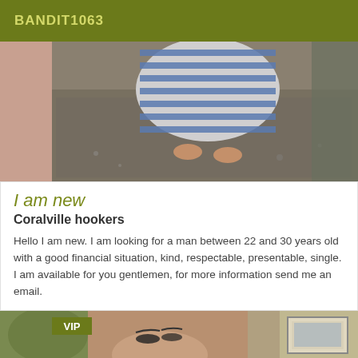BANDIT1063
[Figure (photo): Overhead photo of person wearing blue and white striped skirt, standing on pavement, bare feet visible]
I am new
Coralville hookers
Hello I am new. I am looking for a man between 22 and 30 years old with a good financial situation, kind, respectable, presentable, single. I am available for you gentlemen, for more information send me an email.
[Figure (photo): Partial photo of a woman's face with VIP badge overlay, green plant and framed picture visible in background]